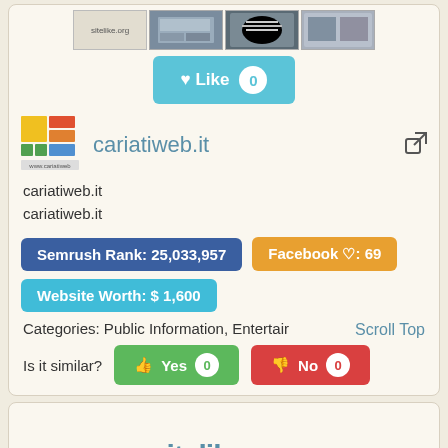[Figure (screenshot): Row of website screenshot thumbnails including sitelike.org label and three photo thumbnails]
♥ Like 0
[Figure (logo): cariatiweb.it colorful grid logo]
cariatiweb.it
cariatiweb.it
cariatiweb.it
Semrush Rank: 25,033,957
Facebook ♡: 69
Website Worth: $ 1,600
Categories: Public Information, Entertain
Is it similar?
Yes 0
No
Scroll Top
[Figure (screenshot): Bottom card showing sitelike.org text partially visible]